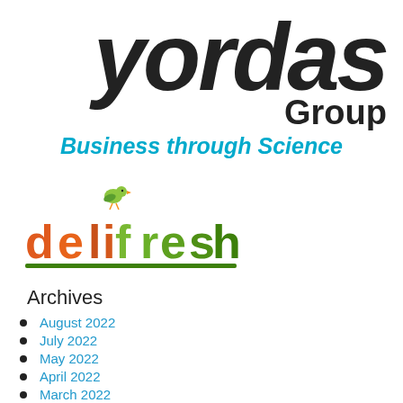[Figure (logo): Yordas Group logo — large bold italic 'yordas' text in dark grey/black with 'Group' in smaller bold text below to the right]
Business through Science
[Figure (logo): delifresh logo — colourful text with a small green bird above the 'i', letters in gradient orange-to-green colours]
Archives
August 2022
July 2022
May 2022
April 2022
March 2022